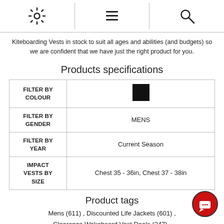[settings icon] [menu icon] [search icon]
Kiteboarding Vests in stock to suit all ages and abilities (and budgets) so we are confident that we have just the right product for you.
Products specifications
|  |  |
| --- | --- |
| FILTER BY COLOUR | [black swatch] |
| FILTER BY GENDER | MENS |
| FILTER BY YEAR | Current Season |
| IMPACT VESTS BY SIZE | Chest 35 - 36in, Chest 37 - 38in |
Product tags
Mens (611) , Discounted Life Jackets (601) , Clearance Wakeboard Vest Deals (247) ,